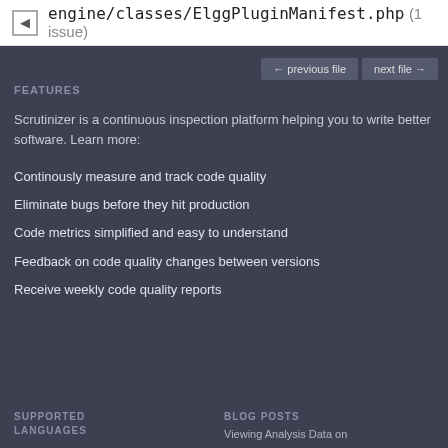engine/classes/ElggPluginManifest.php (1 issue)
← previous file   next file →
FEATURES
Scrutinizer is a continuous inspection platform helping you to write better software. Learn more:
Continously measure and track code quality
Eliminate bugs before they hit production
Code metrics simplified and easy to understand
Feedback on code quality changes between versions
Receive weekly code quality reports
SUPPORTED LANGUAGES
BLOG POSTS
Viewing Analysis Data on